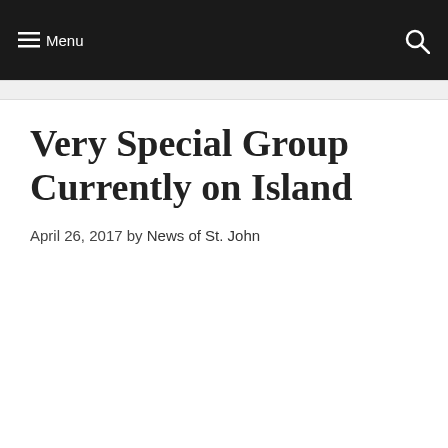≡ Menu  🔍
Very Special Group Currently on Island
April 26, 2017 by News of St. John